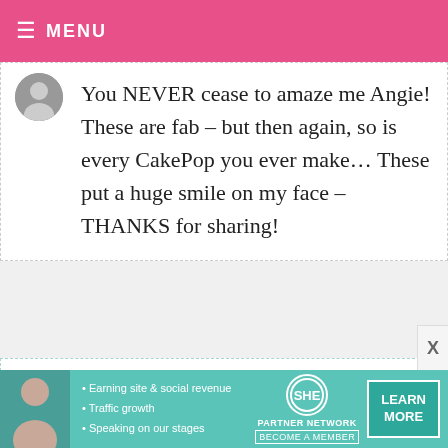MENU
You NEVER cease to amaze me Angie! These are fab – but then again, so is every CakePop you ever make... These put a huge smile on my face – THANKS for sharing!
RACHEL
FEBRUARY 2
These are
[Figure (screenshot): SHE Partner Network advertisement banner with woman avatar, bullet points: Earning site & social revenue, Traffic growth, Speaking on our stages. BECOME A MEMBER. LEARN MORE button.]